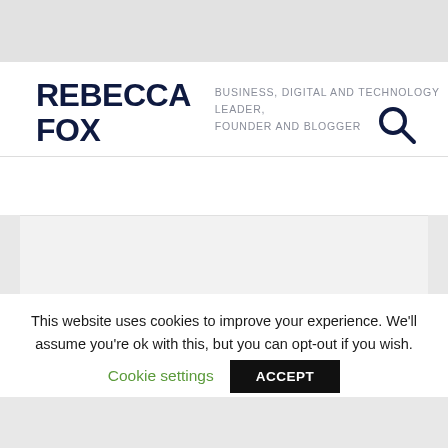REBECCA FOX
BUSINESS, DIGITAL AND TECHNOLOGY LEADER, FOUNDER AND BLOGGER
[Figure (other): Search icon (magnifying glass)]
This website uses cookies to improve your experience. We'll assume you're ok with this, but you can opt-out if you wish.
Cookie settings   ACCEPT